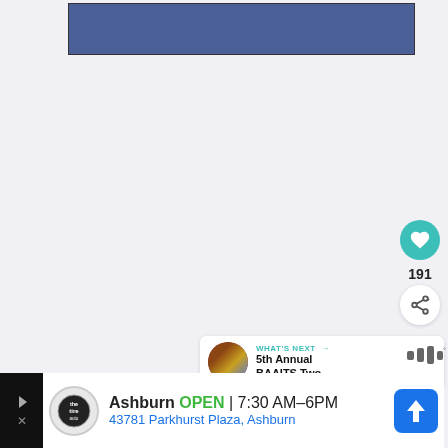[Figure (other): Blue rectangular banner/advertisement placeholder at top of page]
[Figure (other): Teal circular heart/like button showing 191 likes]
191
[Figure (other): Share button (white circle with share icon)]
[Figure (other): What's Next panel showing thumbnail and text: 5th Annual BAAITS Two...]
WHAT'S NEXT → 5th Annual BAAITS Two...
[Figure (other): Mixcloud logo (bar graph icons with degree symbol)]
[Figure (other): Advertisement bar at bottom: The Tire Auto logo, Ashburn OPEN 7:30 AM-6PM, 43781 Parkhurst Plaza, Ashburn, with navigation arrow button]